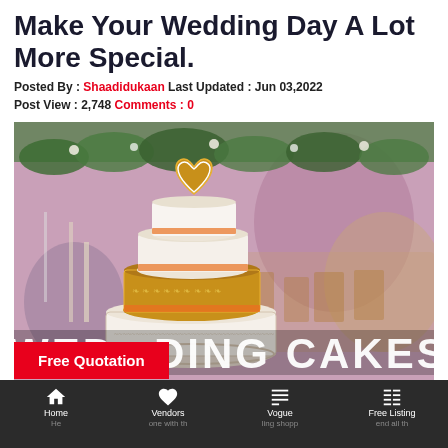Make Your Wedding Day A Lot More Special.
Posted By : Shaadidukaan Last Updated : Jun 03,2022
Post View : 2,748 Comments : 0
[Figure (photo): A multi-tiered white and gold wedding cake with a heart topper, set against a decorated banquet hall background. Text overlay reads WEDDING CAKES. A red button reads Free Quotation.]
Home  Vendors  Vogue  Free Listing